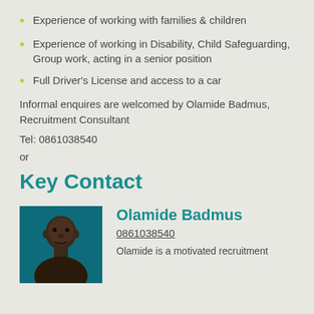Experience of working with families & children
Experience of working in Disability, Child Safeguarding, Group work, acting in a senior position
Full Driver's License and access to a car
Informal enquires are welcomed by Olamide Badmus, Recruitment Consultant
Tel: 0861038540
or
Key Contact
[Figure (photo): Headshot photo of Olamide Badmus, a man against a teal background]
Olamide Badmus
0861038540
Olamide is a motivated recruitment